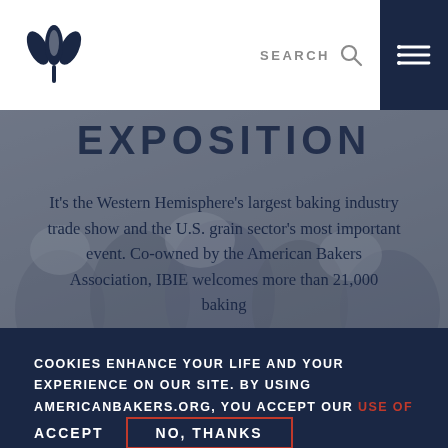[Figure (logo): American Bakers Association wheat/grain logo in navy blue]
SEARCH
[Figure (screenshot): Background photo of people at baking industry event, dimmed/overlaid]
EXPOSITION
It's the Western Hemisphere's largest baking industry trade show and the U.S. grain sector's most important event. Co-owned by the American Bakers Association, IBIE welcomes more than 21,000 baking
COOKIES ENHANCE YOUR LIFE AND YOUR EXPERIENCE ON OUR SITE. BY USING AMERICANBAKERS.ORG, YOU ACCEPT OUR USE OF COOKIES.
ACCEPT
NO, THANKS